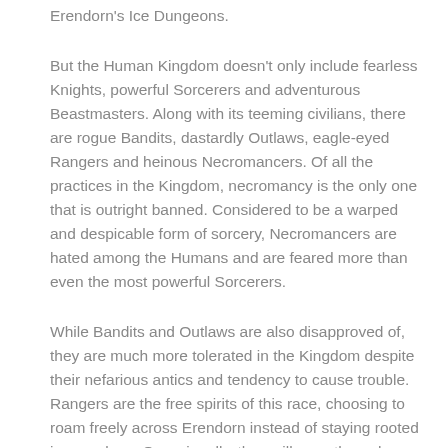Erendorn's Ice Dungeons.
But the Human Kingdom doesn't only include fearless Knights, powerful Sorcerers and adventurous Beastmasters. Along with its teeming civilians, there are rogue Bandits, dastardly Outlaws, eagle-eyed Rangers and heinous Necromancers. Of all the practices in the Kingdom, necromancy is the only one that is outright banned. Considered to be a warped and despicable form of sorcery, Necromancers are hated among the Humans and are feared more than even the most powerful Sorcerers.
While Bandits and Outlaws are also disapproved of, they are much more tolerated in the Kingdom despite their nefarious antics and tendency to cause trouble. Rangers are the free spirits of this race, choosing to roam freely across Erendorn instead of staying rooted in one place. Occasionally, they will pass through one of